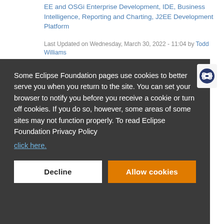EE and OSGi Enterprise Development, IDE, Business Intelligence, Reporting and Charting, J2EE Development Platform
Last Updated on Wednesday, March 30, 2022 - 11:04 by Todd Williams
Some Eclipse Foundation pages use cookies to better serve you when you return to the site. You can set your browser to notify you before you receive a cookie or turn off cookies. If you do so, however, some areas of some sites may not function properly. To read Eclipse Foundation Privacy Policy click here.